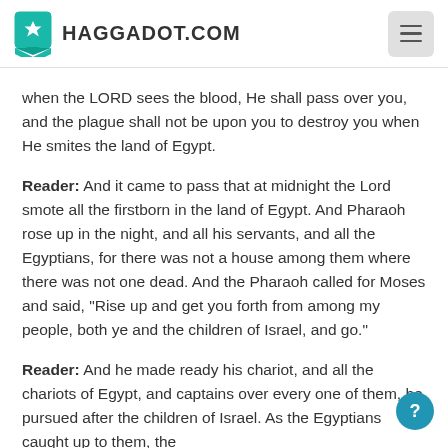HAGGADOT.COM
when the LORD sees the blood, He shall pass over you, and the plague shall not be upon you to destroy you when He smites the land of Egypt.
Reader: And it came to pass that at midnight the Lord smote all the firstborn in the land of Egypt. And Pharaoh rose up in the night, and all his servants, and all the Egyptians, for there was not a house among them where there was not one dead. And the Pharaoh called for Moses and said, "Rise up and get you forth from among my people, both ye and the children of Israel, and go."
Reader: And he made ready his chariot, and all the chariots of Egypt, and captains over every one of them, he pursued after the children of Israel. As the Egyptians caught up to them, the